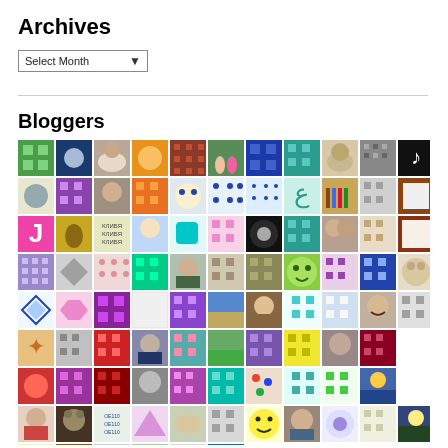Archives
Select Month
Bloggers
[Figure (photo): Grid of blogger avatar images, approximately 11 columns wide and 8+ rows tall, showing various profile photos and colorful patterned quilt-block style avatars]